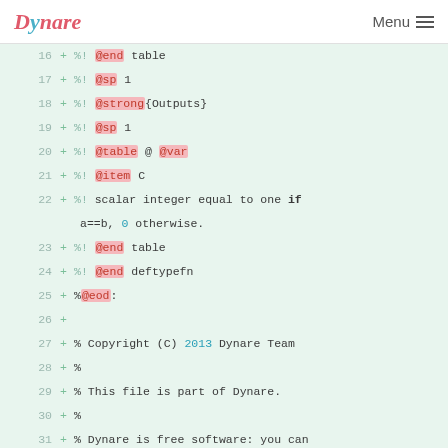Dynare   Menu
[Figure (screenshot): Code diff view showing lines 16-32 of a Dynare source file with added lines (green +) containing Octave documentation markup and copyright notice.]